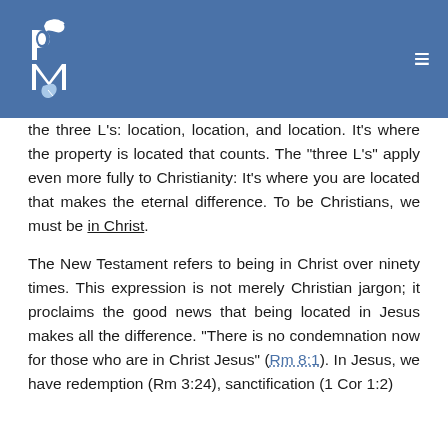PM [logo]
the three L's: location, location, and location. It's where the property is located that counts. The "three L's" apply even more fully to Christianity: It's where you are located that makes the eternal difference. To be Christians, we must be in Christ.
The New Testament refers to being in Christ over ninety times. This expression is not merely Christian jargon; it proclaims the good news that being located in Jesus makes all the difference. "There is no condemnation now for those who are in Christ Jesus" (Rm 8:1). In Jesus, we have redemption (Rm 3:24), sanctification (1 Cor 1:2)...